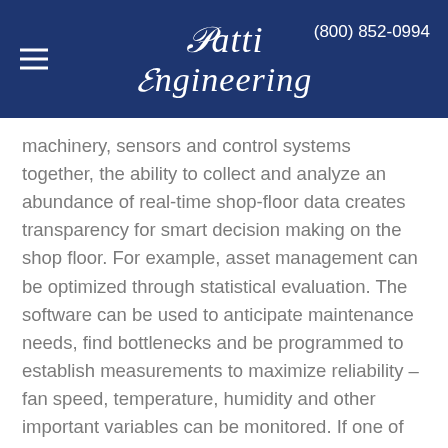Patti Engineering | (800) 852-0994
machinery, sensors and control systems together, the ability to collect and analyze an abundance of real-time shop-floor data creates transparency for smart decision making on the shop floor. For example, asset management can be optimized through statistical evaluation. The software can be used to anticipate maintenance needs, find bottlenecks and be programmed to establish measurements to maximize reliability – fan speed, temperature, humidity and other important variables can be monitored. If one of those variables moves out of the predetermined range, the software can automatically adjust the machinery, essentially solving a problem before it results in machine downtime or compromised quality.